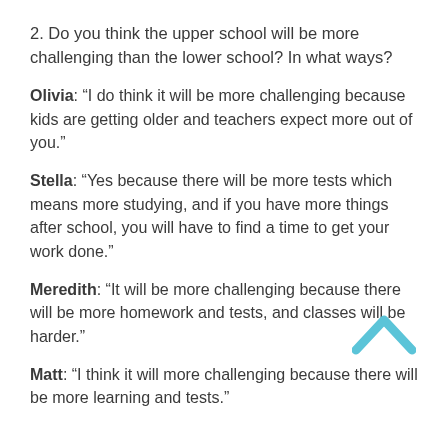2. Do you think the upper school will be more challenging than the lower school? In what ways?
Olivia: “I do think it will be more challenging because kids are getting older and teachers expect more out of you.”
Stella: “Yes because there will be more tests which means more studying, and if you have more things after school, you will have to find a time to get your work done.”
Meredith: “It will be more challenging because there will be more homework and tests, and classes will be harder.”
[Figure (other): A light blue upward-pointing chevron/caret icon used as a navigation button to scroll up.]
Matt: “I think it will more challenging because there will be more learning and tests.”